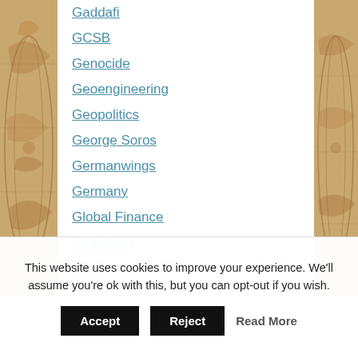Gaddafi
GCSB
Genocide
Geoengineering
Geopolitics
George Soros
Germanwings
Germany
Global Finance
Globalism
GMO
Govt Corruption
This website uses cookies to improve your experience. We'll assume you're ok with this, but you can opt-out if you wish.